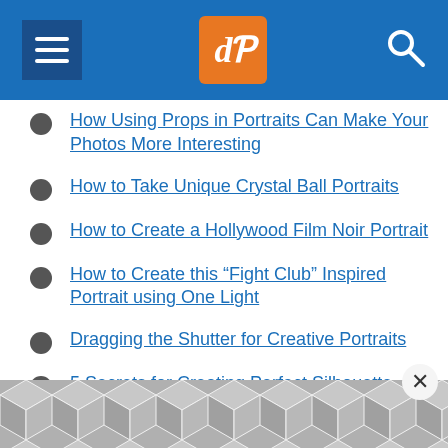dPS navigation header with hamburger menu, dPS logo, and search icon
How Using Props in Portraits Can Make Your Photos More Interesting
How to Take Unique Crystal Ball Portraits
How to Create a Hollywood Film Noir Portrait
How to Create this “Fight Club” Inspired Portrait using One Light
Dragging the Shutter for Creative Portraits
5 Secrets for Creating Perfect Silhouette Portrait Photography
How to do Tilt-Shift Portraits
[Figure (illustration): Repeating geometric hexagonal/cube pattern in gray tones used as decorative background at bottom of page]